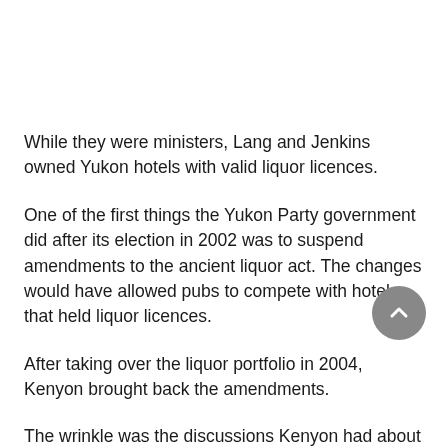While they were ministers, Lang and Jenkins owned Yukon hotels with valid liquor licences.
One of the first things the Yukon Party government did after its election in 2002 was to suspend amendments to the ancient liquor act. The changes would have allowed pubs to compete with hotels that held liquor licences.
After taking over the liquor portfolio in 2004, Kenyon brought back the amendments.
The wrinkle was the discussions Kenyon had about the